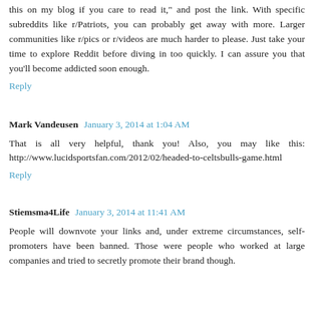this on my blog if you care to read it," and post the link. With specific subreddits like r/Patriots, you can probably get away with more. Larger communities like r/pics or r/videos are much harder to please. Just take your time to explore Reddit before diving in too quickly. I can assure you that you'll become addicted soon enough.
Reply
Mark Vandeusen  January 3, 2014 at 1:04 AM
That is all very helpful, thank you! Also, you may like this: http://www.lucidsportsfan.com/2012/02/headed-to-celtsbulls-game.html
Reply
Stiemsma4Life  January 3, 2014 at 11:41 AM
People will downvote your links and, under extreme circumstances, self-promoters have been banned. Those were people who worked at large companies and tried to secretly promote their brand though.